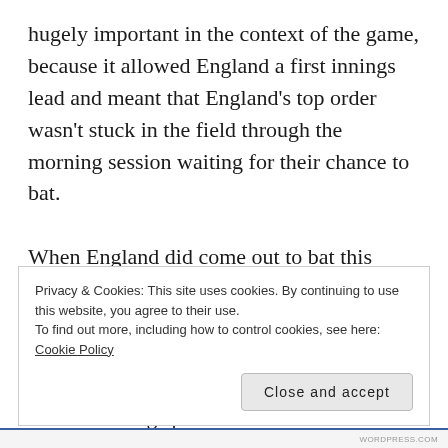hugely important in the context of the game, because it allowed England a first innings lead and meant that England's top order wasn't stuck in the field through the morning session waiting for their chance to bat.

When England did come out to bat this morning, something truly incredible happened: A competent Test batting performance from an England batting unit. Honestly, it was simply a better version of the first innings performance. The batsmen all got starts, but Dom Sibley applied himself and got a well-deserved 85*. When
Privacy & Cookies: This site uses cookies. By continuing to use this website, you agree to their use.
To find out more, including how to control cookies, see here: Cookie Policy
Close and accept